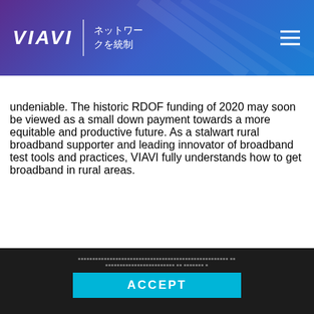VIAVI | ネットワークを統制
undeniable. The historic RDOF funding of 2020 may soon be viewed as a small down payment towards a more equitable and productive future. As a stalwart rural broadband supporter and leading innovator of broadband test tools and practices, VIAVI fully understands how to get broadband in rural areas.
[Cookie consent notice with accept button]